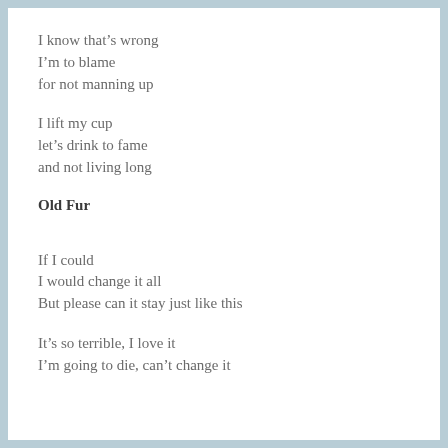I know that's wrong
I'm to blame
for not manning up
I lift my cup
let's drink to fame
and not living long
Old Fur
If I could
I would change it all
But please can it stay just like this
It's so terrible, I love it
I'm going to die, can't change it